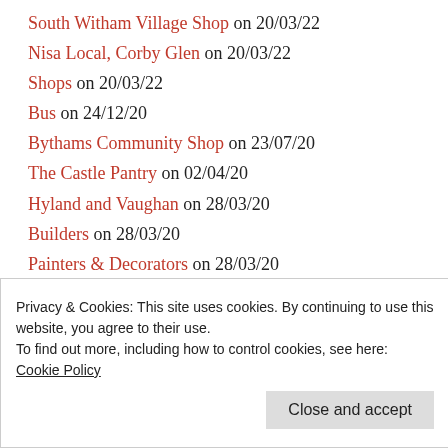South Witham Village Shop on 20/03/22
Nisa Local, Corby Glen on 20/03/22
Shops on 20/03/22
Bus on 24/12/20
Bythams Community Shop on 23/07/20
The Castle Pantry on 02/04/20
Hyland and Vaughan on 28/03/20
Builders on 28/03/20
Painters & Decorators on 28/03/20
Privacy & Cookies: This site uses cookies. By continuing to use this website, you agree to their use.
To find out more, including how to control cookies, see here: Cookie Policy